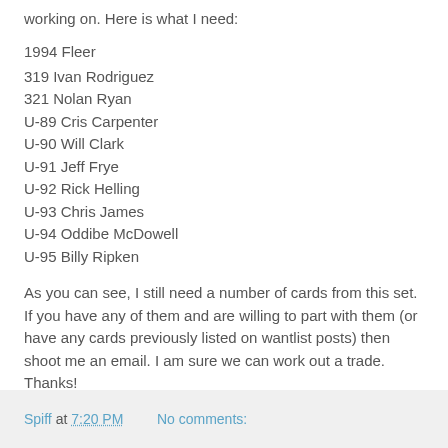working on. Here is what I need:
1994 Fleer
319 Ivan Rodriguez
321 Nolan Ryan
U-89 Cris Carpenter
U-90 Will Clark
U-91 Jeff Frye
U-92 Rick Helling
U-93 Chris James
U-94 Oddibe McDowell
U-95 Billy Ripken
As you can see, I still need a number of cards from this set. If you have any of them and are willing to part with them (or have any cards previously listed on wantlist posts) then shoot me an email. I am sure we can work out a trade. Thanks!
Spiff at 7:20 PM    No comments: